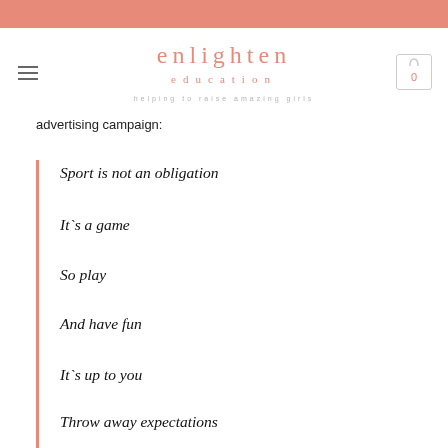enlighten education — helping to raise amazing girls
advertising campaign:
Sport is not an obligation
It`s a game
So play
And have fun
It`s up to you
Throw away expectations
And surprise yourself along the way